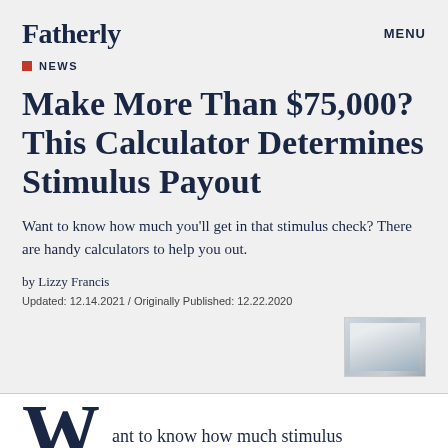Fatherly    MENU
NEWS
Make More Than $75,000? This Calculator Determines Stimulus Payout
Want to know how much you'll get in that stimulus check? There are handy calculators to help you out.
by Lizzy Francis
Updated: 12.14.2021 / Originally Published: 12.22.2020
[Figure (photo): Small thumbnail image of a figure, likely related to the article]
ant to know how much stimulus